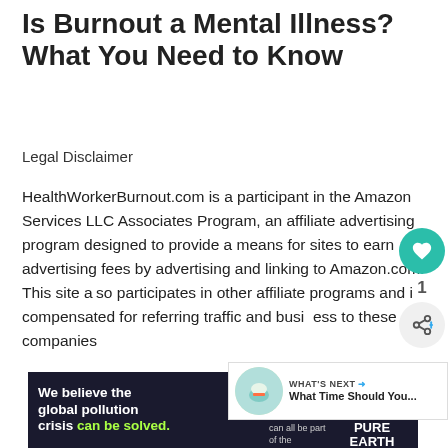Is Burnout a Mental Illness? What You Need to Know
Legal Disclaimer
HealthWorkerBurnout.com is a participant in the Amazon Services LLC Associates Program, an affiliate advertising program designed to provide a means for sites to earn advertising fees by advertising and linking to Amazon.com. This site also participates in other affiliate programs and is compensated for referring traffic and business to these companies
[Figure (other): Pure Earth advertisement banner: 'We believe the global pollution crisis can be solved. In a world where pollution doesn't stop at borders, we can all be part of the solution. JOIN US.' with Pure Earth diamond logo.]